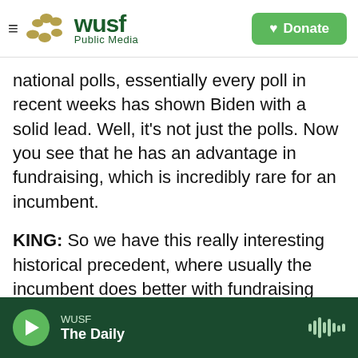WUSF Public Media | Donate
national polls, essentially every poll in recent weeks has shown Biden with a solid lead. Well, it's not just the polls. Now you see that he has an advantage in fundraising, which is incredibly rare for an incumbent.
KING: So we have this really interesting historical precedent, where usually the incumbent does better with fundraising than the challenger. President Trump raised a lot. He raised $131 million in June, still less than Joe Biden. What do you make of that?
WUSF | The Daily